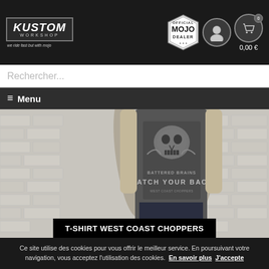Kustom Workshop - Official Mojo Dealer - 0,00 €
Rechercher...
≡ Menu
[Figure (photo): Mannequin wearing a dark grey T-shirt with West Coast Choppers skull graphic print reading 'BATTERED BRAINS WATCH YOUR BACK']
T-SHIRT WEST COAST CHOPPERS
Ce site utilise des cookies pour vous offrir le meilleur service. En poursuivant votre navigation, vous acceptez l'utilisation des cookies. En savoir plus J'accepte